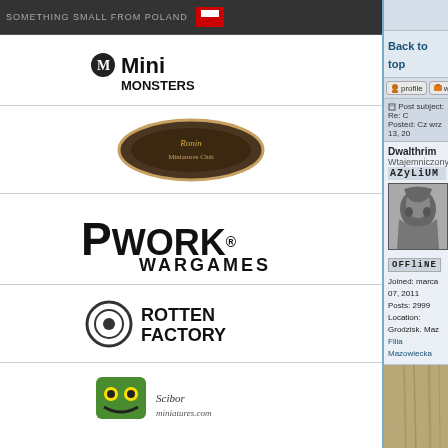[Figure (screenshot): Forum page screenshot showing left sidebar with sponsor logos (Mini Monsters, Ronin, PWork Wargames, Rotten Factory, Sciborminiatures, Norbert Hlusca, Spellcrow) and main content showing user Dwalthrim's profile panel with AZYLIUM guild tag, offline status, joined March 07 2011, Posts 2999, Location Grodzisk Maz, Filia Mazowiecka link, plus post header and image panel on right]
Back to top
profile  w
Post subject: Re: C
Posted: Cz wrz 13, 20
Dwalthrim
Wtajemniczony
AZYLIUM
OFFliNE
Joined: marca 07, 2011
Posts: 2999
Location: Grodzisk. Maz
Filia Mazowiecka